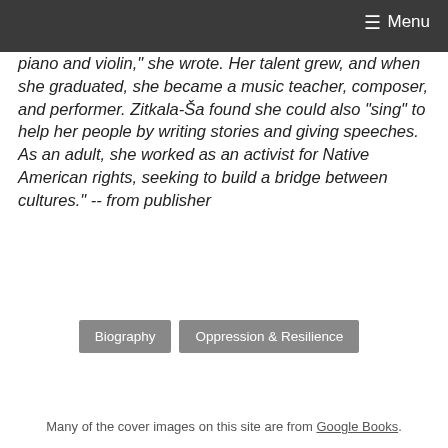Menu
piano and violin," she wrote. Her talent grew, and when she graduated, she became a music teacher, composer, and performer. Zitkala-Ša found she could also "sing" to help her people by writing stories and giving speeches. As an adult, she worked as an activist for Native American rights, seeking to build a bridge between cultures." -- from publisher
Biography | Oppression & Resilience
Many of the cover images on this site are from Google Books.